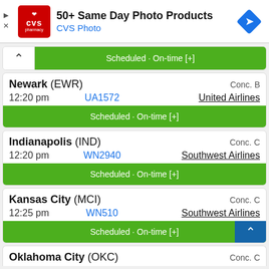[Figure (infographic): CVS Pharmacy advertisement banner: CVS logo (red square), headline '50+ Same Day Photo Products', sub-heading 'CVS Photo', blue diamond navigation icon on right]
Scheduled · On-time [+]
| Destination | Flight | Airline | Concourse |
| --- | --- | --- | --- |
| Newark (EWR) | UA1572 | United Airlines | Conc. B | 12:20 pm |
| Indianapolis (IND) | WN2940 | Southwest Airlines | Conc. C | 12:20 pm |
| Kansas City (MCI) | WN510 | Southwest Airlines | Conc. C | 12:25 pm |
Oklahoma City (OKC) ... Conc. C